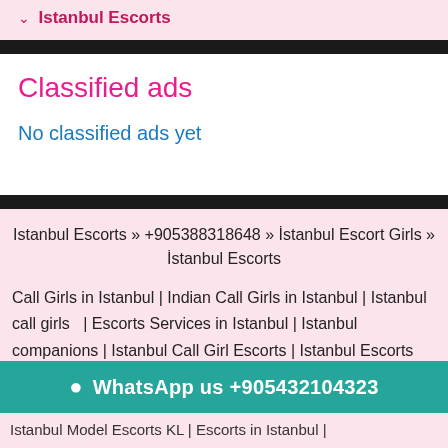✓ Istanbul Escorts
Classified ads
No classified ads yet
Istanbul Escorts » +905388318648 » İstanbul Escort Girls » İstanbul Escorts
Call Girls in Istanbul | Indian Call Girls in Istanbul | Istanbul call girls  | Escorts Services in Istanbul | Istanbul companions | Istanbul Call Girl Escorts | Istanbul Escorts Agency | Escorts Agency in Istanbul |
WhatsApp us +905432104323
Istanbul Model Escorts KL | Escorts in Istanbul |